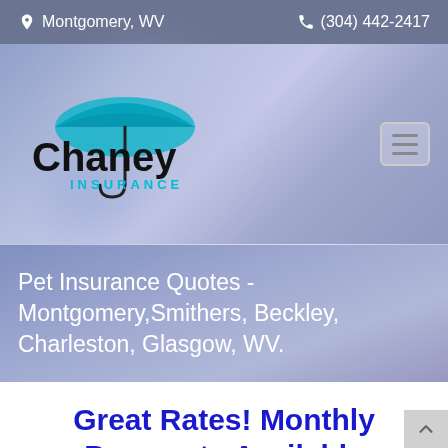Montgomery, WV    (304) 442-2417
[Figure (logo): Chaney Insurance logo with umbrella icon on a blue-purple blurred background]
Pet Insurance Quotes - Montgomery,Smithers, Beckley, Charleston, Glasgow, WV.
Great Rates! Monthly Payments Available
304-442-2417